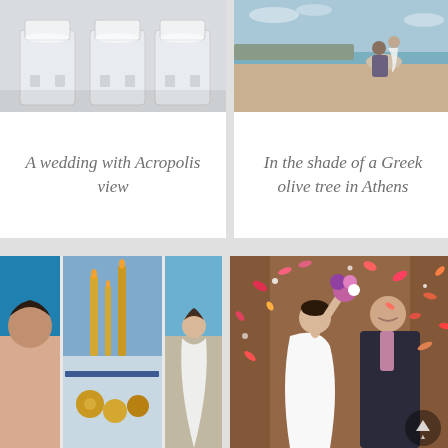[Figure (photo): Wedding chairs with white fabric covers, elegant event setup]
A wedding with Acropolis view
[Figure (photo): Couple sitting by the sea in a coastal Greek landscape]
In the shade of a Greek olive tree in Athens
[Figure (photo): Collage of three wedding photos: bride close-up, wedding table with gold candelabras and decorations, bride in white dress by seaside]
[Figure (photo): Joyful newlyweds celebrating with colorful flower petals raining down, bride holding bouquet up]